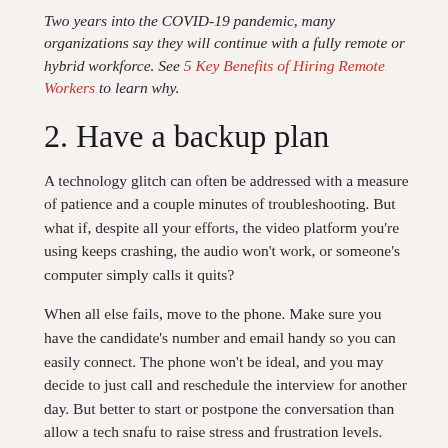Two years into the COVID-19 pandemic, many organizations say they will continue with a fully remote or hybrid workforce. See 5 Key Benefits of Hiring Remote Workers to learn why.
2. Have a backup plan
A technology glitch can often be addressed with a measure of patience and a couple minutes of troubleshooting. But what if, despite all your efforts, the video platform you're using keeps crashing, the audio won't work, or someone's computer simply calls it quits?
When all else fails, move to the phone. Make sure you have the candidate's number and email handy so you can easily connect. The phone won't be ideal, and you may decide to just call and reschedule the interview for another day. But better to start or postpone the conversation than allow a tech snafu to raise stress and frustration levels.